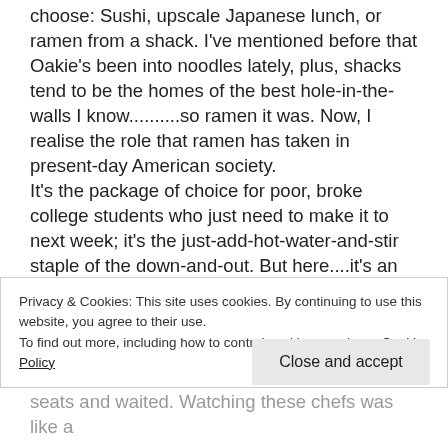choose: Sushi, upscale Japanese lunch, or ramen from a shack. I've mentioned before that Oakie's been into noodles lately, plus, shacks tend to be the homes of the best hole-in-the-walls I know..........so ramen it was. Now, I realise the role that ramen has taken in present-day American society.
It's the package of choice for poor, broke college students who just need to make it to next week; it's the just-add-hot-water-and-stir staple of the down-and-out. But here....it's an art form.
The shack seated about 12 people side by side on
Privacy & Cookies: This site uses cookies. By continuing to use this website, you agree to their use.
To find out more, including how to control cookies, see here: Cookie Policy
Close and accept
seats and waited. Watching these chefs was like a